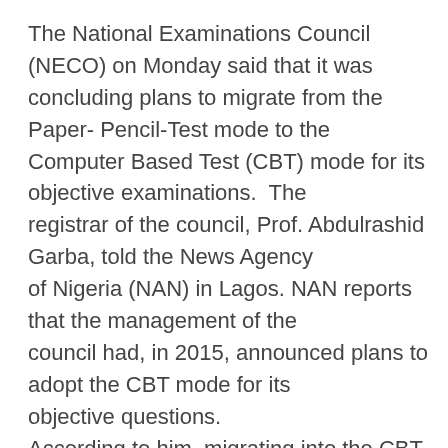The National Examinations Council (NECO) on Monday said that it was concluding plans to migrate from the Paper- Pencil-Test mode to the Computer Based Test (CBT) mode for its objective examinations. The registrar of the council, Prof. Abdulrashid Garba, told the News Agency of Nigeria (NAN) in Lagos. NAN reports that the management of the council had, in 2015, announced plans to adopt the CBT mode for its objective questions. According to him, migrating into the CBT will make the examination less cumbersome but be cost effective. “We have almost finalised the procedure on the CBT mode for our objective examinations. “As soon as